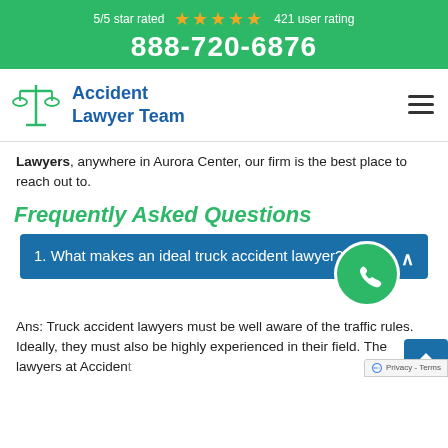5/5 star rated ★★★★★ 421 user rating
888-720-6876
[Figure (logo): Accident Lawyer Team logo with scales of justice icon in green and blue text]
Lawyers, anywhere in Aurora Center, our firm is the best place to reach out to.
Frequently Asked Questions
1. What makes an ideal truck accident lawyer?
Ans: Truck accident lawyers must be well aware of the traffic rules. Ideally, they must also be highly experienced in their field. The lawyers at Accident Lawyer Team Aurora Center are recognized all t...